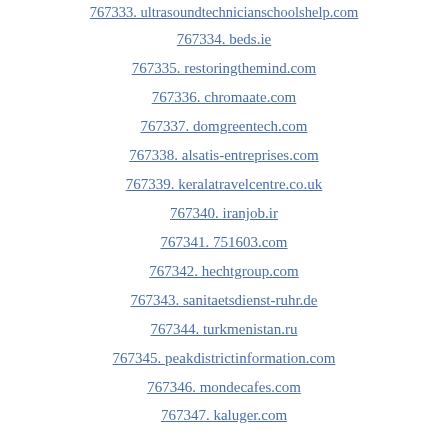767333. ultrasoundtechnicianschoolshelp.com
767334. beds.ie
767335. restoringthemind.com
767336. chromaate.com
767337. domgreentech.com
767338. alsatis-entreprises.com
767339. keralatravelcentre.co.uk
767340. iranjob.ir
767341. 751603.com
767342. hechtgroup.com
767343. sanitaetsdienst-ruhr.de
767344. turkmenistan.ru
767345. peakdistrictinformation.com
767346. mondecafes.com
767347. kaluger.com